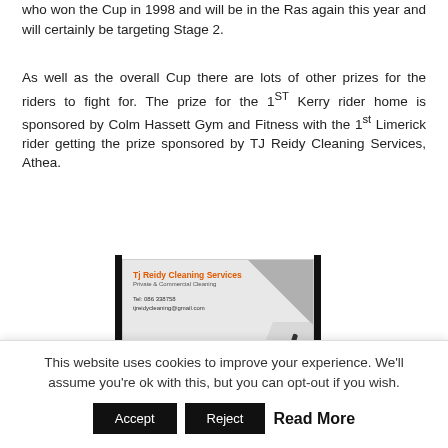who won the Cup in 1998 and will be in the Ras again this year and will certainly be targeting Stage 2.
As well as the overall Cup there are lots of other prizes for the riders to fight for. The prize for the 1ST Kerry rider home is sponsored by Colm Hassett Gym and Fitness with the 1st Limerick rider getting the prize sponsored by TJ Reidy Cleaning Services, Athea.
[Figure (photo): Business card for TJ Reidy Cleaning Services showing company name in orange, subtitle 'Private & Commercial Cleaning', contact phone number and email, and 'Window Cleaning & Power Washing' at bottom, with an orange squeegee graphic on the right side.]
T...
This website uses cookies to improve your experience. We'll assume you're ok with this, but you can opt-out if you wish.